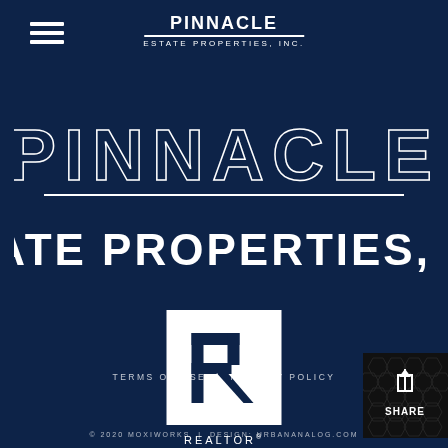[Figure (logo): Hamburger menu icon - three horizontal white lines]
[Figure (logo): Pinnacle Estate Properties, Inc. small header logo - white text with divider line]
[Figure (logo): Pinnacle Estate Properties, Inc. large watermark logo - white outline letters on dark navy background]
[Figure (logo): REALTOR logo - white square box with dark navy R symbol inside, REALTOR text below with registered trademark symbol]
TERMS OF USE | PRIVACY POLICY
[Figure (other): Share button - dark background with hexagonal pattern, upload/share icon and SHARE text in white]
© 2020 MOXIWORKS | DESIGN: URBANANALOG.COM